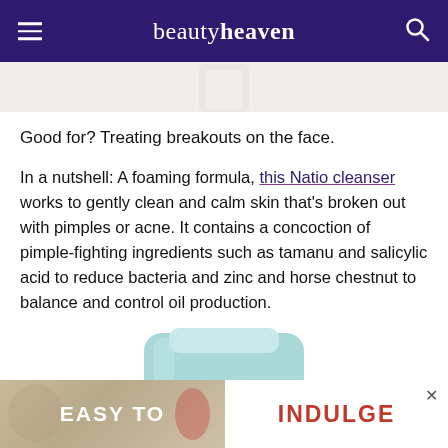beautyheaven
[Figure (photo): Partial view of a white cosmetic product container, cropped at top of page]
Good for? Treating breakouts on the face.
In a nutshell: A foaming formula, this Natio cleanser works to gently clean and calm skin that's broken out with pimples or acne. It contains a concoction of pimple-fighting ingredients such as tamanu and salicylic acid to reduce bacteria and zinc and horse chestnut to balance and control oil production.
[Figure (photo): Avon Anew Retroactive product tube in mint/teal color, partially visible]
[Figure (other): Advertisement banner reading EASY TO INDULGE with an X close button]